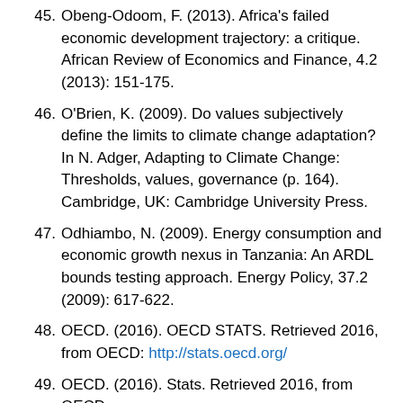45. Obeng-Odoom, F. (2013). Africa's failed economic development trajectory: a critique. African Review of Economics and Finance, 4.2 (2013): 151-175.
46. O'Brien, K. (2009). Do values subjectively define the limits to climate change adaptation? In N. Adger, Adapting to Climate Change: Thresholds, values, governance (p. 164). Cambridge, UK: Cambridge University Press.
47. Odhiambo, N. (2009). Energy consumption and economic growth nexus in Tanzania: An ARDL bounds testing approach. Energy Policy, 37.2 (2009): 617-622.
48. OECD. (2016). OECD STATS. Retrieved 2016, from OECD: http://stats.oecd.org/
49. OECD. (2016). Stats. Retrieved 2016, from OECD: http://stats.oecd.org/
50. Pearce, D. (1993). World without end: economics, environment and sustainable development. Oxford...